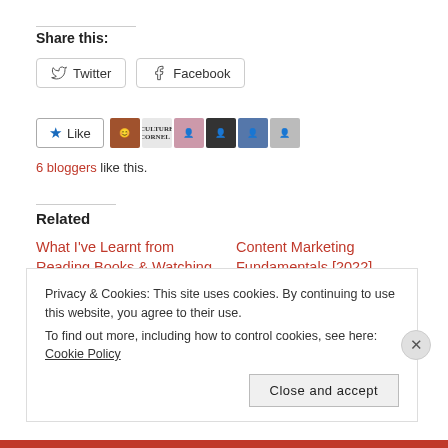Share this:
Twitter  Facebook
[Figure (other): Like button with star icon followed by 6 blogger avatars]
6 bloggers like this.
Related
What I've Learnt from Reading Books & Watching Ted Talks
March 27, 2017
In "Mental Health"
Content Marketing Fundamentals [2022]
July 27, 2022
In "Business"
Privacy & Cookies: This site uses cookies. By continuing to use this website, you agree to their use.
To find out more, including how to control cookies, see here: Cookie Policy
Close and accept